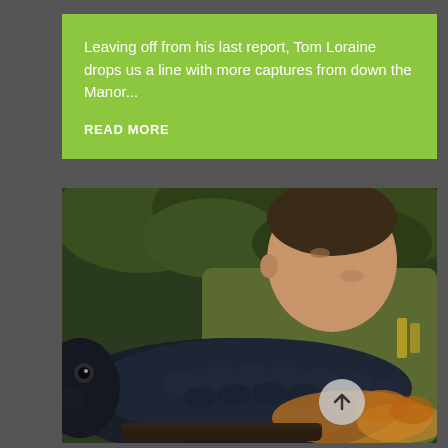Leaving off from his last report, Tom Loraine drops us a line with more captures from down the Manor...
READ MORE
[Figure (photo): A man holding a very large common carp fish, smiling, outdoors with green foliage in the background.]